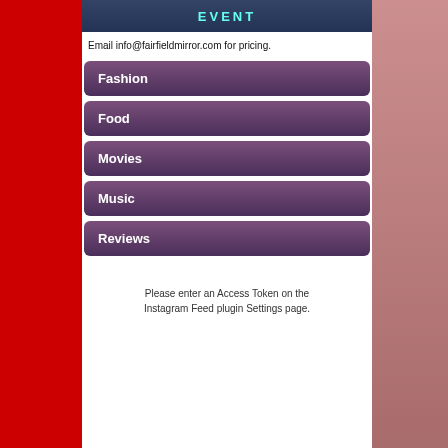[Figure (photo): Top banner photo strip showing people at an event with cyan/teal text overlay reading 'EVENT']
Email info@fairfieldmirror.com for pricing.
Fashion
Food
Movies
Music
Reviews
Please enter an Access Token on the Instagram Feed plugin Settings page.